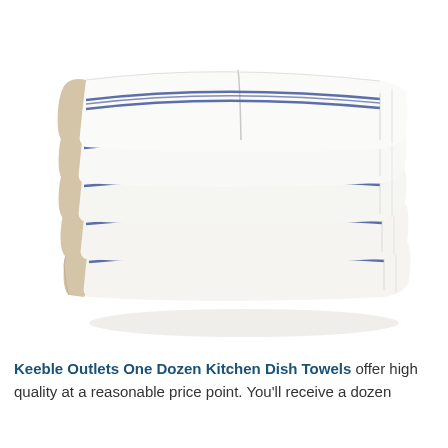[Figure (photo): A stack of white kitchen dish towels with blue stripes, folded neatly and stacked on top of each other, photographed on a white background.]
Keeble Outlets One Dozen Kitchen Dish Towels offer high quality at a reasonable price point. You'll receive a dozen